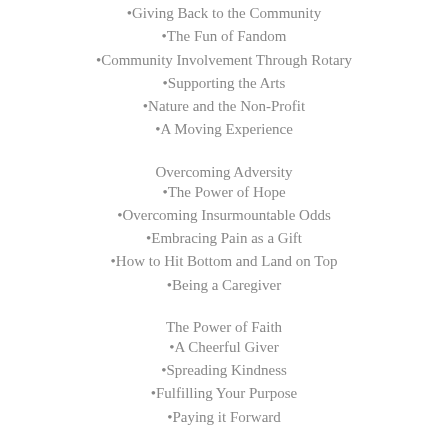•Giving Back to the Community
•The Fun of Fandom
•Community Involvement Through Rotary
•Supporting the Arts
•Nature and the Non-Profit
•A Moving Experience
Overcoming Adversity
•The Power of Hope
•Overcoming Insurmountable Odds
•Embracing Pain as a Gift
•How to Hit Bottom and Land on Top
•Being a Caregiver
The Power of Faith
•A Cheerful Giver
•Spreading Kindness
•Fulfilling Your Purpose
•Paying it Forward